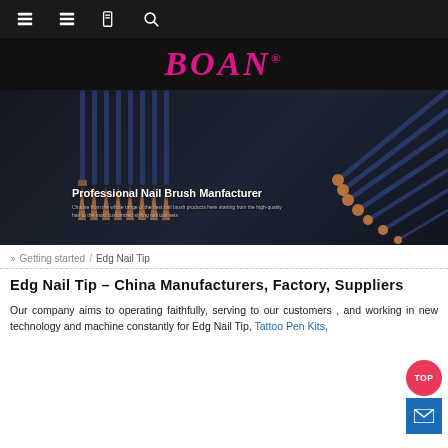Navigation bar with home, menu, book, and search icons
[Figure (logo): BOAN logo in pink italic serif font on black background]
[Figure (photo): Banner showing professional nail brushes arranged on dark background with text 'Professional Nail Brush Manfacturer' and subtitle 'Choose from the whole range of the best nail brush products here starting from the high-quality hair to the most customized styling nail tool sets']
» Getting started / Edg Nail Tip
Edg Nail Tip – China Manufacturers, Factory, Suppliers
Our company aims to operating faithfully, serving to our customers , and working in new technology and machine constantly for Edg Nail Tip, Tattoo Pen Kits,